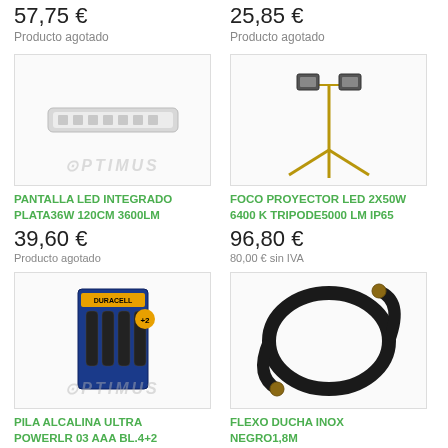57,75 €
Producto agotado
25,85 €
Producto agotado
[Figure (photo): LED strip light panel, silver/white color, Optimus watermark]
PANTALLA LED INTEGRADO PLATA36W 120CM 3600LM
39,60 €
Producto agotado
[Figure (photo): LED projector spotlight on tripod stand, gold color, 2x50W]
FOCO PROYECTOR LED 2X50W 6400 K TRIPODE5000 LM IP65
96,80 €
80,00 € sin IVA
[Figure (photo): Duracell Ultra Power LR03 AAA batteries pack of 4+2, Optimus watermark]
PILA ALCALINA ULTRA POWERLR 03 AAA BL.4+2
[Figure (photo): Black stainless steel flexible shower hose 1.8m]
FLEXO DUCHA INOX NEGRO1,8M